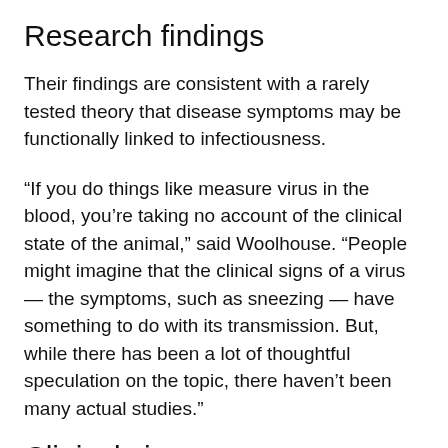Research findings
Their findings are consistent with a rarely tested theory that disease symptoms may be functionally linked to infectiousness.
“If you do things like measure virus in the blood, you’re taking no account of the clinical state of the animal,” said Woolhouse. “People might imagine that the clinical signs of a virus — the symptoms, such as sneezing — have something to do with its transmission. But, while there has been a lot of thoughtful speculation on the topic, there haven’t been many actual studies.”
Clinical signs
Charleston and his team are now calling for practical tools that could diagnose foot-and-mouth disease in the field before